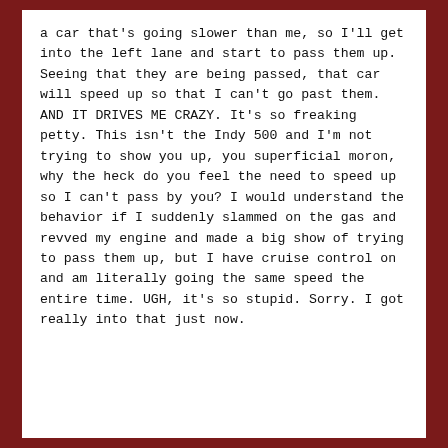a car that's going slower than me, so I'll get into the left lane and start to pass them up. Seeing that they are being passed, that car will speed up so that I can't go past them. AND IT DRIVES ME CRAZY. It's so freaking petty. This isn't the Indy 500 and I'm not trying to show you up, you superficial moron, why the heck do you feel the need to speed up so I can't pass by you? I would understand the behavior if I suddenly slammed on the gas and revved my engine and made a big show of trying to pass them up, but I have cruise control on and am literally going the same speed the entire time. UGH, it's so stupid. Sorry. I got really into that just now.